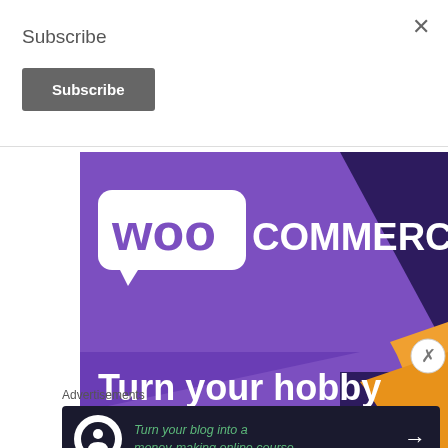×
Subscribe
Subscribe
[Figure (screenshot): WooCommerce advertisement banner with purple background showing WooCommerce logo at top and text 'Turn your hobby into a business' at bottom, with orange decorative shape on right side]
Advertisements
[Figure (screenshot): Dark navy advertisement banner with circular white icon showing person silhouette and green italic text: 'Turn your blog into a money-making online course.' with white arrow on right]